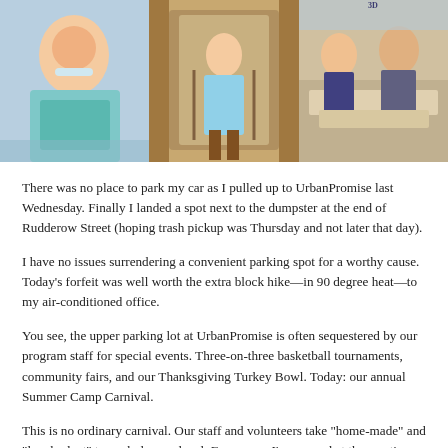[Figure (photo): Three photos side by side: a smiling girl in a gray t-shirt outdoors; a child standing with arms raised in front of a wooden structure; children working together on a wooden plank project.]
There was no place to park my car as I pulled up to UrbanPromise last Wednesday. Finally I landed a spot next to the dumpster at the end of Rudderow Street (hoping trash pickup was Thursday and not later that day).
I have no issues surrendering a convenient parking spot for a worthy cause. Today’s forfeit was well worth the extra block hike—in 90 degree heat—to my air-conditioned office.
You see, the upper parking lot at UrbanPromise is often sequestered by our program staff for special events.  Three-on-three basketball tournaments, community fairs, and our Thanksgiving Turkey Bowl. Today: our annual Summer Camp Carnival.
This is no ordinary carnival. Our staff and volunteers take “home-made” and “low budget” to a whole new level.  Every year I’m amazed at the creative uses of recycled cardboard boxes, discarded plywood, poster paint and junk from the remote corners of the campus storage…